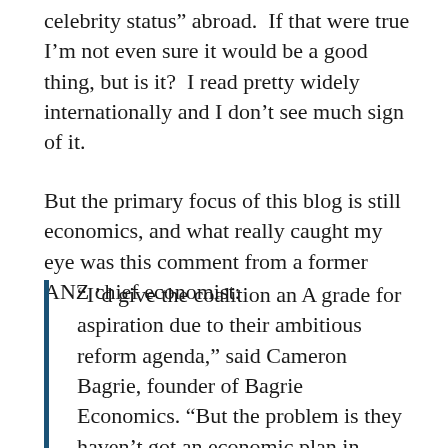celebrity status” abroad.  If that were true I’m not even sure it would be a good thing, but is it?  I read pretty widely internationally and I don’t see much sign of it.
But the primary focus of this blog is still economics, and what really caught my eye was this comment from a former ANZ chief economist:
“I’d give the coalition an A grade for aspiration due to their ambitious reform agenda,” said Cameron Bagrie, founder of Bagrie Economics. “But the problem is they haven’t got an economic plan in place yet